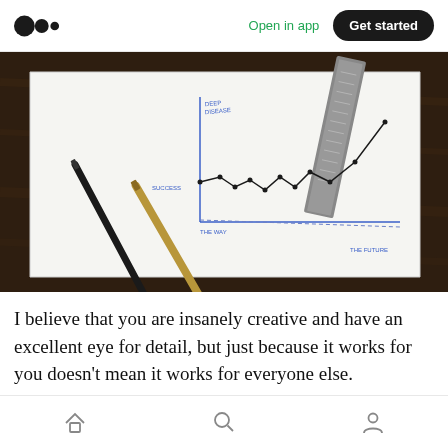Open in app   Get started
[Figure (photo): A photograph of a white notepad on a dark wooden desk with pens and a ruler. The notepad shows a hand-drawn line chart with labels including 'DEEP DISEASE', 'SUCCESS', 'THE WAY', and 'THE FUTURE'.]
I believe that you are insanely creative and have an excellent eye for detail, but just because it works for you doesn't mean it works for everyone else.
Home  Search  Profile